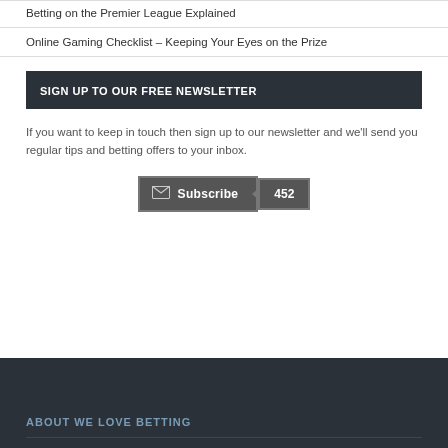Betting on the Premier League Explained
Online Gaming Checklist – Keeping Your Eyes on the Prize
SIGN UP TO OUR FREE NEWSLETTER
If you want to keep in touch then sign up to our newsletter and we'll send you regular tips and betting offers to your inbox.
Subscribe  452
ABOUT WE LOVE BETTING